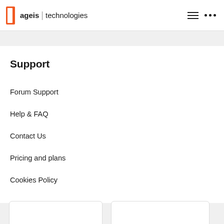ageis | technologies
Support
Forum Support
Help & FAQ
Contact Us
Pricing and plans
Cookies Policy